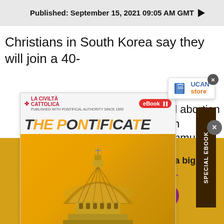Published: September 15, 2021 09:05 AM GMT ▶
Christians in South Korea say they will join a 40-
d abortion in
mmunity
agencies
[Figure (illustration): La Civiltà Cattolica ebook popup showing 'THE PONTIFICATE' book cover with image of St. Peter's Basilica dome, with UCAN Store popup, Special Ebook tab, and close buttons]
he faithful
ongui Line
ark), a
Your small contribution can make a big difference. Support UCA News.
DONATE NOW